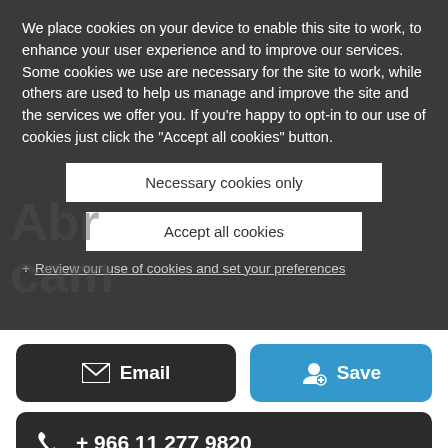We place cookies on your device to enable this site to work, to enhance your user experience and to improve our services. Some cookies we use are necessary for the site to work, while others are used to help us manage and improve the site and the services we offer you. If you're happy to opt-in to our use of cookies just click the "Accept all cookies" button.
Necessary cookies only
Accept all cookies
+ Review our use of cookies and set your preferences
Email
Save
+ 966 11 277 9820
Languages